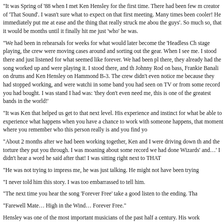"It was Spring of '88 when I met Ken Hensley for the first time. There had been few m creator of 'That Sound'. I wasn't sure what to expect on that first meeting. Many times been cooler! He immediately put me at ease and the thing that really struck me abou the guys'. So much so, that it would be months until it finally hit me just 'who' he was.
"We had been in rehearsals for weeks for what would later become the 'Headless Ch stage playing, the crew were moving cases around and sorting out the gear. When I see me. I stood there and just listened for what seemed like forever. We had been pl there, they already had the song worked up and were playing it. I stood there, and th Johnny Rod on bass, Frankie Banali on drums and Ken Hensley on Hammond B-3. The crew didn't even notice me because they had stopped working, and were watchi in some band you had seen on TV or from some record you had bought. I was stand I had was: 'they don't even need me, this is one of the greatest bands in the world!'
"It was Ken that helped us get to that next level. His experience and instinct for what be able to experience what happens when you have a chance to work with someone happens, that moment where you remember who this person really is and you find yo
"About 2 months after we had been working together, Ken and I were driving down th and the torture they put you through. I was moaning about some record we had done Wizards' and…' I didn't hear a word he said after that! I was sitting right next to THAT
"He was not trying to impress me, he was just talking. He might not have been trying
"I never told him this story. I was too embarrassed to tell him.
"The next time you hear the song 'Forever Free' take a good listen to the ending. Tha
"Farewell Mate… High in the Wind… Forever Free."
Hensley was one of the most important musicians of the past half a century. His work